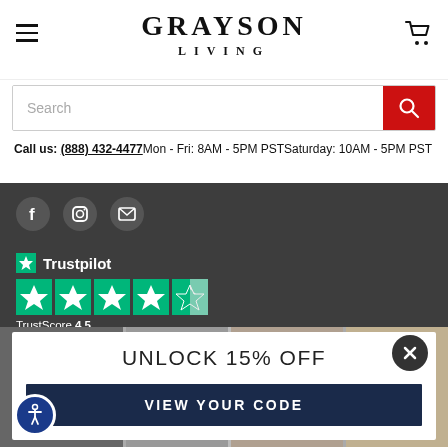GRAYSON LIVING
Search
Call us: (888) 432-4477 Mon - Fri: 8AM - 5PM PST Saturday: 10AM - 5PM PST
[Figure (screenshot): Social media icons: Facebook, Instagram, Email on dark gray bar]
[Figure (logo): Trustpilot logo with green star icon and text, 4.5 star rating shown with TrustScore 4.5]
UNLOCK 15% OFF
VIEW YOUR CODE